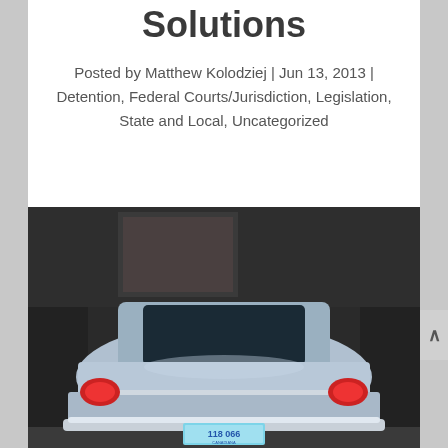Solutions
Posted by Matthew Kolodziej | Jun 13, 2013 | Detention, Federal Courts/Jurisdiction, Legislation, State and Local, Uncategorized
[Figure (photo): Rear view of a silver/blue classic car (appears to be a 1960s Chevrolet Corvair or similar) parked inside a dark garage or storage unit. The car has red tail lights on both sides, a chrome rear bumper, and a light blue license plate reading '118 066'.]